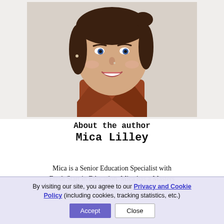[Figure (photo): Headshot photo of Mica Lilley, a young woman with dark hair pulled back, wearing a rust/burnt-orange collared top, smiling at the camera against a light neutral background.]
About the author
Mica Lilley
Mica is a Senior Education Specialist with Fresh Start in Education. Mica has a Masters degree in Special Educational Needs, with
By visiting our site, you agree to our Privacy and Cookie Policy (including cookies, tracking statistics, etc.)